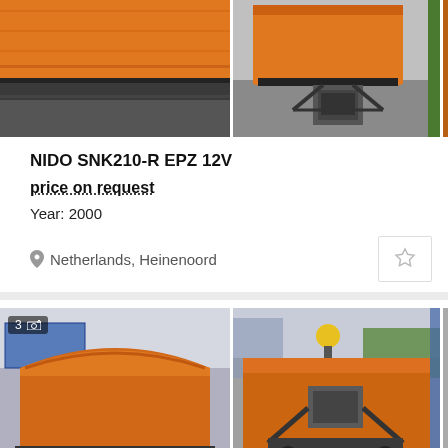[Figure (photo): Top-left photo of orange snow plow blade close-up]
[Figure (photo): Top-right photo of orange snow plow with machinery visible]
NIDO SNK210-R EPZ 12V
price on request
Year: 2000
Netherlands, Heinenoord
[Figure (photo): Bottom-left photo of orange snow plow blade close-up with badge showing 3 photos]
[Figure (photo): Bottom-right photo of orange snow plow from behind showing machinery]
NIDO SNK240-R